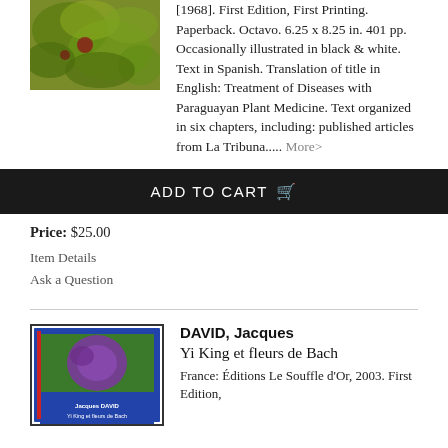[Figure (photo): Book cover image showing yellow-green plant/foliage]
[1968]. First Edition, First Printing. Paperback. Octavo. 6.25 x 8.25 in. 401 pp. Occasionally illustrated in black & white. Text in Spanish. Translation of title in English: Treatment of Diseases with Paraguayan Plant Medicine. Text organized in six chapters, including: published articles from La Tribuna..... More>
ADD TO CART
Price: $25.00
Item Details
Ask a Question
[Figure (photo): Book cover for Yi King et fleurs de Bach by Jacques David, showing a blue-bordered book with a purple flower image]
DAVID, Jacques
Yi King et fleurs de Bach
France: Éditions Le Souffle d'Or, 2003. First Edition,